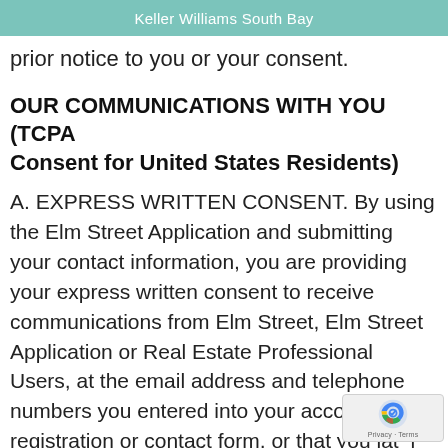Keller Williams South Bay
prior notice to you or your consent.
OUR COMMUNICATIONS WITH YOU (TCPA Consent for United States Residents)
A. EXPRESS WRITTEN CONSENT. By using the Elm Street Application and submitting your contact information, you are providing your express written consent to receive communications from Elm Street, Elm Street Application or Real Estate Professional Users, at the email address and telephone numbers you entered into your account registration or contact form, or that you later provide to us or enter into the Elm Street Application, via live, automated or prerecorded